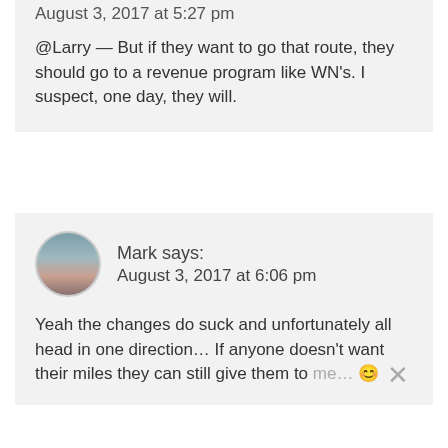August 3, 2017 at 5:27 pm
@Larry — But if they want to go that route, they should go to a revenue program like WN's. I suspect, one day, they will.
Mark says: August 3, 2017 at 6:06 pm
Yeah the changes do suck and unfortunately all head in one direction… If anyone doesn't want their miles they can still give them to me…